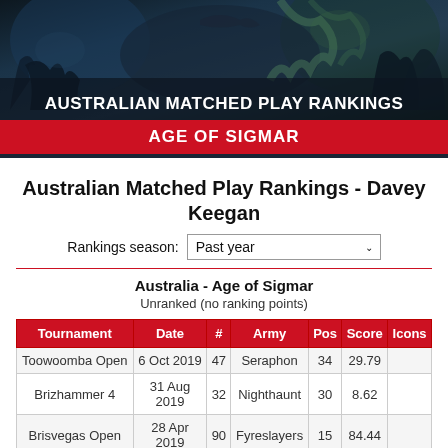[Figure (illustration): Fantasy battle scene banner image with warriors and creatures for Australian Matched Play Rankings]
Australian Matched Play Rankings
AGE OF SIGMAR
Australian Matched Play Rankings - Davey Keegan
Rankings season: Past year
Australia - Age of Sigmar
Unranked (no ranking points)
| Tournament | Date | # | Army | Pos | Score | Icons |
| --- | --- | --- | --- | --- | --- | --- |
| Toowoomba Open | 6 Oct 2019 | 47 | Seraphon | 34 | 29.79 |  |
| Brizhammer 4 | 31 Aug 2019 | 32 | Nighthaunt | 30 | 8.62 |  |
| Brisvegas Open | 28 Apr 2019 | 90 | Fyreslayers | 15 | 84.44 |  |
| Brizhammer | 29 Jul | 24 | Nighthaunt | 8 | 70.83 |  |